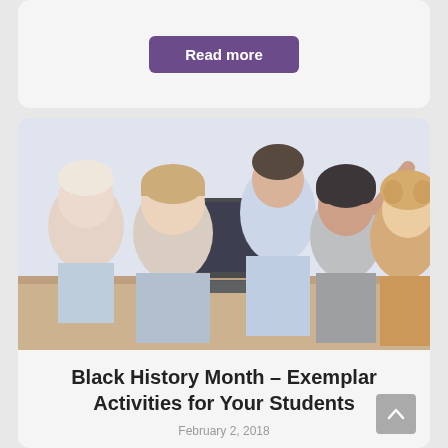Read more
[Figure (photo): A teacher and four children gathered around a laptop at a table in a classroom setting. The teacher, a young man, leans in to engage with the students.]
Black History Month – Exemplar Activities for Your Students
February 2, 2018